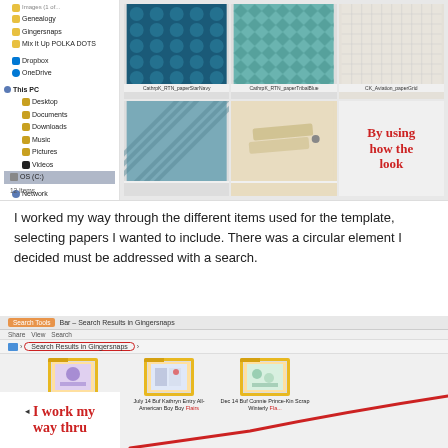[Figure (screenshot): Windows file explorer showing folder sidebar with items like Genealogy, Gingersnaps, Mix It Up POLKA DOTS, Dropbox, OneDrive, This PC (Desktop, Documents, Downloads, Music, Pictures, Videos, OS (C:) highlighted, Network), and thumbnail grid of scrapbooking papers: navy dots, teal tribal, grid/graph paper, diagonal stripe, cream/wood texture, and a red bold text overlay reading 'By using how the look']
I worked my way through the different items used for the template, selecting papers I wanted to include. There was a circular element I decided must be addressed with a search.
[Figure (screenshot): Windows file explorer showing Search Tools tab, search results in Gingersnaps folder with breadcrumb pill, folders with scrapbook kit thumbnails (Mags Graphics Bookworm Flairs, July 14 Buf Kathryn Entry All-American Boy Boy Flairs, Dec 14 Buf Connie Prince-Kin Scrap Winterly Flair...), red diagonal arrow overlay, and bottom-left white box with red bold text 'I work my way thru' with triangle bullet and page numbers 14/7]